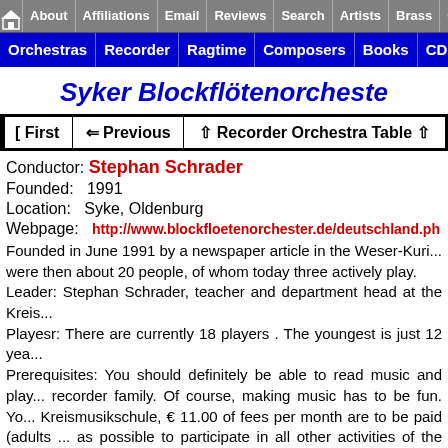About | Affiliations | Email | Reviews | Search | Artists | Brass | Cho...
Orchestras | Recorder | Ragtime | Composers | Books | CDs | M...
Syker Blockflötenorcheste...
| [ First | ⇐ Previous | ↑ Recorder Orchestra Table ↑ |
| --- | --- | --- |
Conductor: Stephan Schrader
Founded: 1991
Location: Syke, Oldenburg
Webpage: http://www.blockfloetenorchester.de/deutschland.ph...
Founded in June 1991 by a newspaper article in the Weser-Kuri... were then about 20 people, of whom today three actively play. Leader: Stephan Schrader, teacher and department head at the Kreis... Playesr: There are currently 18 players . The youngest is just 12 yea... Prerequisites: You should definitely be able to read music and play... recorder family. Of course, making music has to be fun. Yo... Kreismusikschule, € 11.00 of fees per month are to be paid (adults ... as possible to participate in all other activities of the Kreismusiksch... Instrumentation: From sopranino to the great bass. We also have a... we lack a large-air man or a woman. Other instruments: We did a little bit with a singer from the enser... choir pieces with a small mixed choir. Rehearsals: Every 14 days every Wednesday for 120 minutes. The...